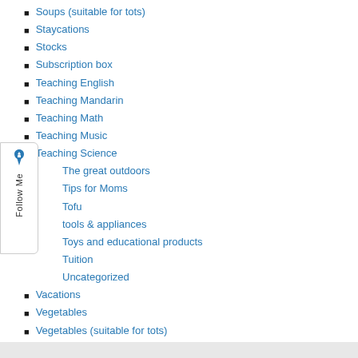Soups (suitable for tots)
Staycations
Stocks
Subscription box
Teaching English
Teaching Mandarin
Teaching Math
Teaching Music
Teaching Science
The great outdoors
Tips for Moms
Tofu
tools & appliances
Toys and educational products
Tuition
Uncategorized
Vacations
Vegetables
Vegetables (suitable for tots)
Western Food
Where to go